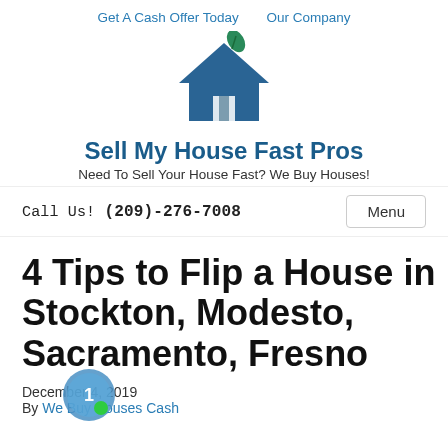Get A Cash Offer Today   Our Company
[Figure (logo): Sell My House Fast Pros house logo with leaf icon in dark blue]
Sell My House Fast Pros
Need To Sell Your House Fast? We Buy Houses!
Call Us! (209)-276-7008
4 Tips to Flip a House in Stockton, Modesto, Sacramento, Fresno
December 4, 2019
By We Buy Houses Cash